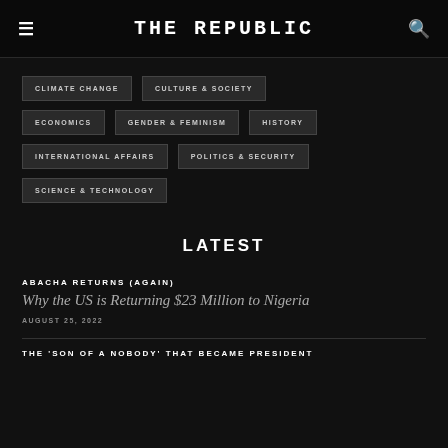THE REPUBLIC
CLIMATE CHANGE
CULTURE & SOCIETY
ECONOMICS
GENDER & FEMINISM
HISTORY
INTERNATIONAL AFFAIRS
POLITICS & SECURITY
SCIENCE & TECHNOLOGY
LATEST
ABACHA RETURNS (AGAIN)
Why the US is Returning $23 Million to Nigeria
AUGUST 25, 2022
THE 'SON OF A NOBODY' THAT BECAME PRESIDENT